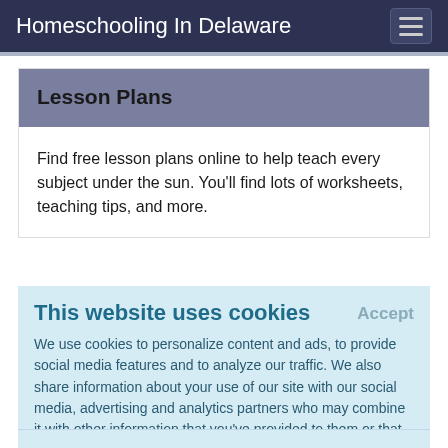Homeschooling In Delaware
Lesson Plans
Find free lesson plans online to help teach every subject under the sun. You'll find lots of worksheets, teaching tips, and more.
This website uses cookies
We use cookies to personalize content and ads, to provide social media features and to analyze our traffic. We also share information about your use of our site with our social media, advertising and analytics partners who may combine it with other information that you've provided to them or that they've collected from your use of their services.
Learn More.